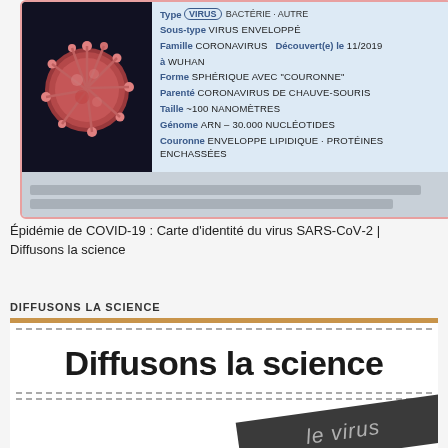[Figure (infographic): Identity card of SARS-CoV-2 virus with a 3D image of the coronavirus on the left and structured factual information on the right: Type (VIRUS), Sous-type VIRUS ENVELOPPÉ, Famille CORONAVIRUS, Découvert(e) le 11/2019 à WUHAN, Forme SPHÉRIQUE AVEC COURONNE, Parenté CORONAVIRUS DE CHAUVE-SOURIS, Taille ~100 NANOMÈTRES, Génome ARN – 30.000 NUCLÉOTIDES, Couronne ENVELOPPE LIPIDIQUE – PROTÉINES ENCHASSÉES]
Épidémie de COVID-19 : Carte d'identité du virus SARS-CoV-2 | Diffusons la science
DIFFUSONS LA SCIENCE
[Figure (logo): Diffusons la science logo with orange top bar, dashed borders, bold large text 'Diffusons la science' and a diagonal dark banner at bottom with italic text 'le virus']